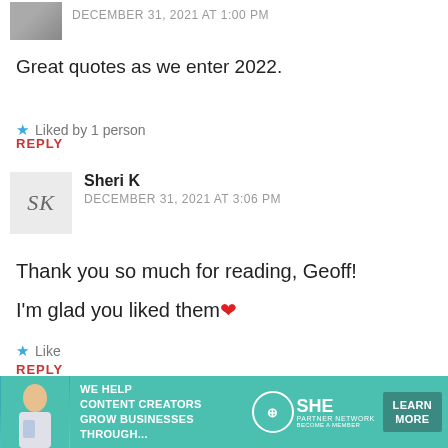DECEMBER 31, 2021 AT 1:00 PM
Great quotes as we enter 2022.
Liked by 1 person
REPLY
Sheri K
DECEMBER 31, 2021 AT 3:06 PM
Thank you so much for reading, Geoff!
I'm glad you liked them ❤
Like
REPLY
[Figure (infographic): SHE Partner Network advertisement banner — teal background with woman holding laptop, text 'WE HELP CONTENT CREATORS GROW BUSINESSES THROUGH...', SHE logo, and LEARN MORE button]